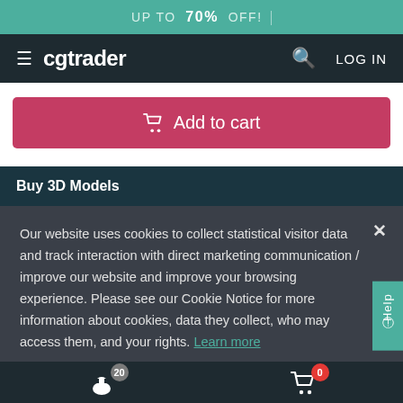UP TO 70% OFF!
cgtrader  LOG IN
Add to cart
Buy 3D Models
Our website uses cookies to collect statistical visitor data and track interaction with direct marketing communication / improve our website and improve your browsing experience. Please see our Cookie Notice for more information about cookies, data they collect, who may access them, and your rights. Learn more
Accept
20  0